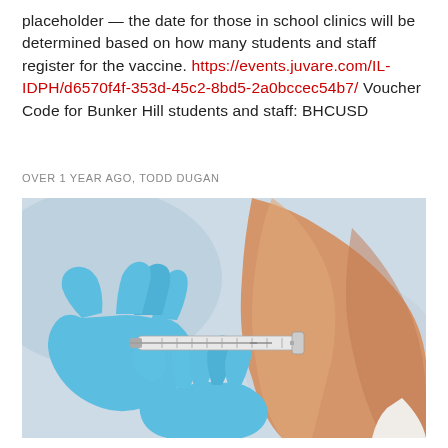placeholder — the date for those in school clinics will be determined based on how many students and staff register for the vaccine. https://events.juvare.com/IL-IDPH/d6570f4f-353d-45c2-8bd5-2a0bccec54b7/ Voucher Code for Bunker Hill students and staff: BHCUSD
OVER 1 YEAR AGO, TODD DUGAN
[Figure (photo): Close-up photo of a healthcare worker wearing blue latex gloves administering a vaccine injection into a person's upper arm using a syringe.]